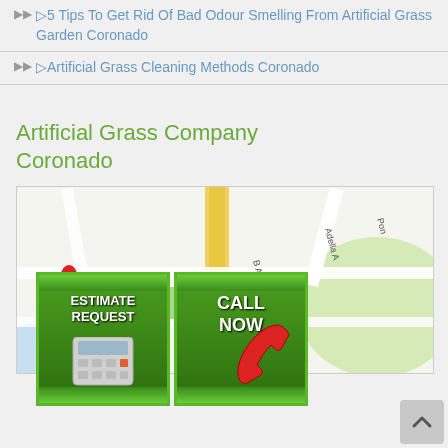▶▶ ▷5 Tips To Get Rid Of Bad Odour Smelling From Artificial Grass Garden Coronado
▶▶ ▷Artificial Grass Cleaning Methods Coronado
Artificial Grass Company Coronado
[Figure (map): Google Maps view of Coronado area with street names including Adella A, Pon, B Ave, Miguel's Cocina. Overlaid with two call-to-action buttons: ESTIMATE REQUEST with calculator graphic, and CALL NOW with red phone graphic, both on green grass backgrounds.]